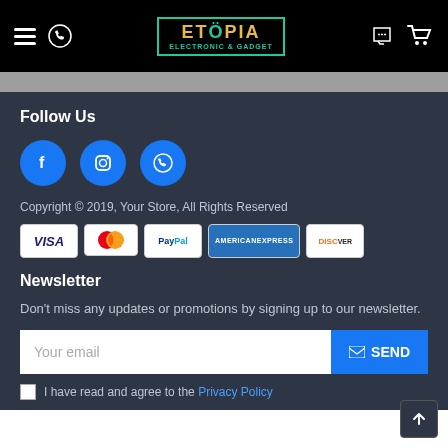Etopia Electronic & Gadget — navigation bar
Follow Us
[Figure (illustration): Three blue circular social media icons: Facebook (f), Instagram (camera), WhatsApp (phone handset)]
Copyright © 2019, Your Store, All Rights Reserved
[Figure (illustration): Payment method icons: VISA, Mastercard, PayPal, American Express, Discover]
Newsletter
Don't miss any updates or promotions by signing up to our newsletter.
Your email [input field] SEND [button]
I have read and agree to the Privacy Policy